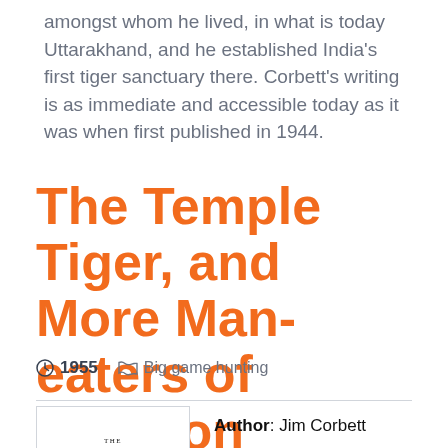amongst whom he lived, in what is today Uttarakhand, and he established India's first tiger sanctuary there. Corbett's writing is as immediate and accessible today as it was when first published in 1944.
The Temple Tiger, and More Man-eaters of Kumaon
1955   Big game hunting
[Figure (illustration): Book cover thumbnail for 'The Temple Tiger and More Man-eaters of Kumaon']
Author: Jim Corbett